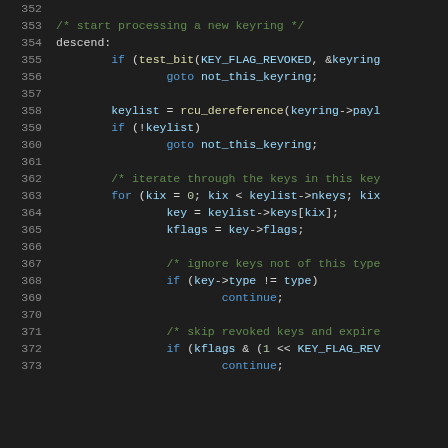[Figure (screenshot): Source code listing showing C code for keyring processing, lines 352-373, with syntax highlighting on dark background. Comments in green, keywords in blue, identifiers in light blue.]